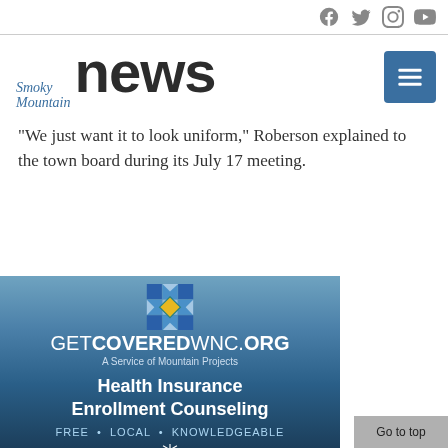Smoky Mountain News — social icons bar
[Figure (logo): Smoky Mountain News logo with menu button]
"We just want it to look uniform," Roberson explained to the town board during its July 17 meeting.
[Figure (illustration): GetCoveredWNC.org advertisement — A Service of Mountain Projects. Health Insurance Enrollment Counseling. FREE • LOCAL • KNOWLEDGEABLE.]